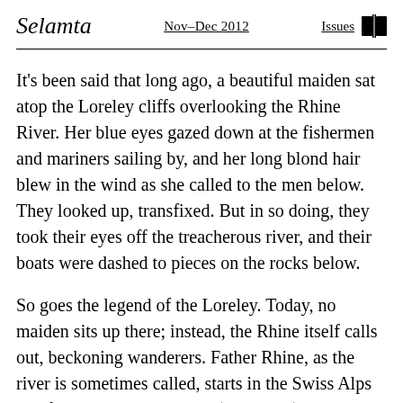Selamta   Nov–Dec 2012   Issues
It's been said that long ago, a beautiful maiden sat atop the Loreley cliffs overlooking the Rhine River. Her blue eyes gazed down at the fishermen and mariners sailing by, and her long blond hair blew in the wind as she called to the men below. They looked up, transfixed. But in so doing, they took their eyes off the treacherous river, and their boats were dashed to pieces on the rocks below.
So goes the legend of the Loreley. Today, no maiden sits up there; instead, the Rhine itself calls out, beckoning wanderers. Father Rhine, as the river is sometimes called, starts in the Swiss Alps and flows 1,233 kilometers (766 miles) north to the North Sea